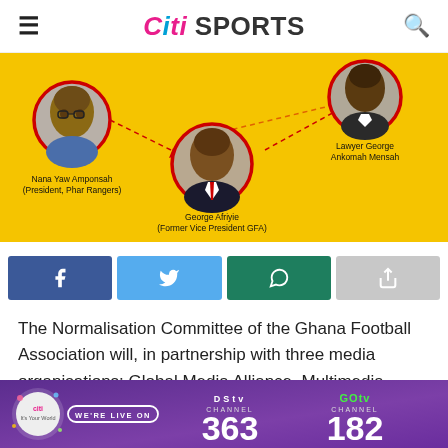Citi SPORTS
[Figure (infographic): Yellow background banner showing three GFA presidential candidates in red-bordered circles: Nana Yaw Amponsah (President, Phar Rangers) on the left, George Afriyie (Former Vice President GFA) in the center, and Lawyer George Ankomah Mensah on the upper right, with dashed arrows connecting them.]
[Figure (infographic): Social media share buttons row: Facebook (blue), Twitter (light blue), WhatsApp (dark green), and Share (grey) buttons with respective icons.]
The Normalisation Committee of the Ghana Football Association will, in partnership with three media organisations: Global Media Alliance, Multimedia Ghana Limited and Ghana Broadcasting Corporation, organise a live radio and television debate for five of the presidential candidates of the upcoming GFA
[Figure (infographic): Purple/violet advertisement banner for Citi TV showing DStv Channel 363 and GOtv Channel 182 with WE'RE LIVE ON text.]